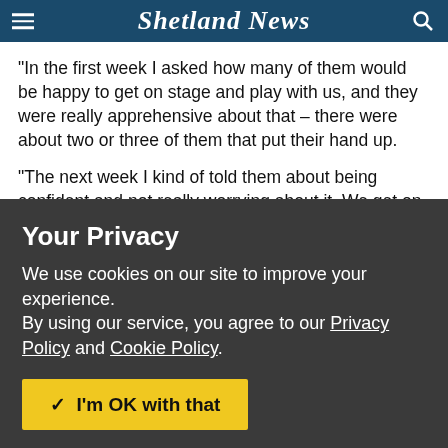Shetland News
“In the first week I asked how many of them would be happy to get on stage and play with us, and they were really apprehensive about that – there were about two or three of them that put their hand up.
“The next week I kind of told them about being confident and not really worrying about it. We get on stage and play and we’re not very good! I kind of told them not to worry about
Your Privacy
We use cookies on our site to improve your experience.
By using our service, you agree to our Privacy Policy and Cookie Policy.
✓  I'm OK with that